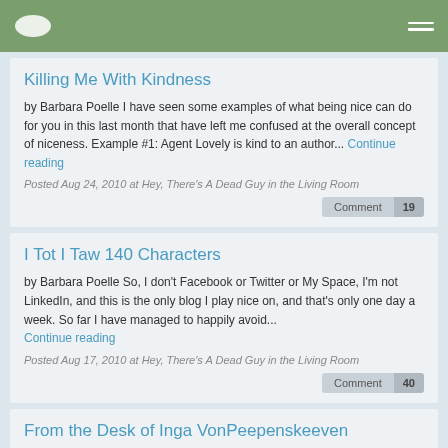Navigation header with logo and hamburger menu
Killing Me With Kindness
by Barbara Poelle I have seen some examples of what being nice can do for you in this last month that have left me confused at the overall concept of niceness. Example #1: Agent Lovely is kind to an author... Continue reading
Posted Aug 24, 2010 at Hey, There's A Dead Guy in the Living Room
Comment 19
I Tot I Taw 140 Characters
by Barbara Poelle So, I don't Facebook or Twitter or My Space, I'm not LinkedIn, and this is the only blog I play nice on, and that's only one day a week. So far I have managed to happily avoid... Continue reading
Posted Aug 17, 2010 at Hey, There's A Dead Guy in the Living Room
Comment 40
From the Desk of Inga VonPeepenskeeven
Confidential Internal Office Memo Interns, you have done a fine job so far this summer- especially those of you involved in the near fiasco we'll just call the Home Waxing Kit. However, those of